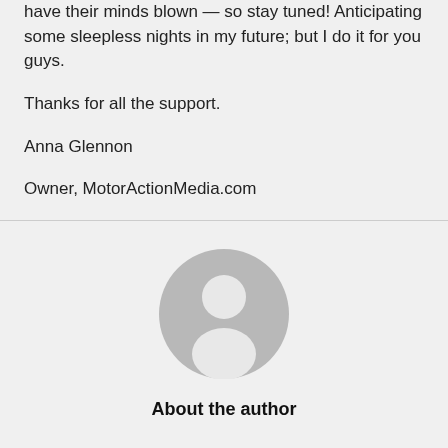have their minds blown — so stay tuned! Anticipating some sleepless nights in my future; but I do it for you guys.
Thanks for all the support.
Anna Glennon
Owner, MotorActionMedia.com
[Figure (illustration): Generic user avatar icon: a circular gray background with a white silhouette of a person (head and shoulders)]
About the author